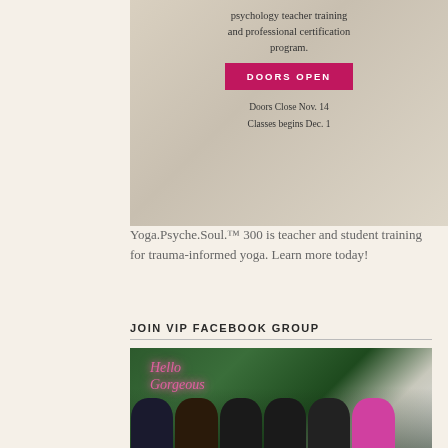[Figure (photo): Advertisement banner for a psychology teacher training and professional certification program with a pink 'DOORS OPEN' button, dates showing Doors Close Nov. 14 and Classes begins Dec. 1, with women doing yoga in the background]
Yoga.Psyche.Soul.™ 300 is teacher and student training for trauma-informed yoga. Learn more today!
JOIN VIP FACEBOOK GROUP
[Figure (photo): Group of women laughing and socializing at an event in front of a green hedge wall with a pink neon sign that reads 'Hello Gorgeous']